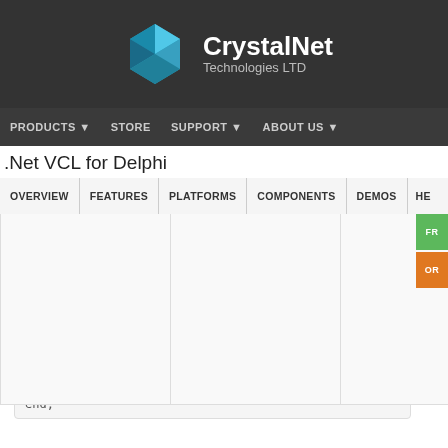[Figure (logo): CrystalNet Technologies LTD logo with blue crystal/gem icon and white text on dark background]
PRODUCTS  STORE  SUPPORT  ABOUT US
.Net VCL for Delphi
OVERVIEW  FEATURES  PLATFORMS  COMPONENTS  DEMOS  HE...
end;
Using the TCnHttpListener component, you can create a simple HTTP protocol listener that responds to HTTP requests. The listener is active for the lifetime of the HttpListener object and runs within your application with its permissions.
To use TCnHttpListener, create a new instance of the component using the TCnHttpListener constructor and use the Prefixes property to gain access to the collection that holds the strings that